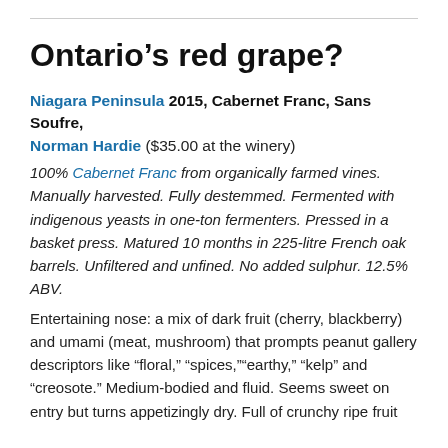Ontario’s red grape?
Niagara Peninsula 2015, Cabernet Franc, Sans Soufre, Norman Hardie ($35.00 at the winery)
100% Cabernet Franc from organically farmed vines. Manually harvested. Fully destemmed. Fermented with indigenous yeasts in one-ton fermenters. Pressed in a basket press. Matured 10 months in 225-litre French oak barrels. Unfiltered and unfined. No added sulphur. 12.5% ABV.
Entertaining nose: a mix of dark fruit (cherry, blackberry) and umami (meat, mushroom) that prompts peanut gallery descriptors like “floral,” “spices,”“earthy,” “kelp” and “creosote.” Medium-bodied and fluid. Seems sweet on entry but turns appetizingly dry. Full of crunchy ripe fruit